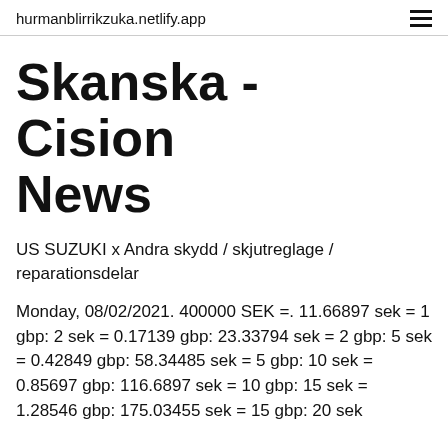hurmanblirrikzuka.netlify.app
Skanska - Cision News
US SUZUKI x Andra skydd / skjutreglage / reparationsdelar
Monday, 08/02/2021. 400000 SEK =. 11.66897 sek = 1 gbp: 2 sek = 0.17139 gbp: 23.33794 sek = 2 gbp: 5 sek = 0.42849 gbp: 58.34485 sek = 5 gbp: 10 sek = 0.85697 gbp: 116.6897 sek = 10 gbp: 15 sek = 1.28546 gbp: 175.03455 sek = 15 gbp: 20 sek